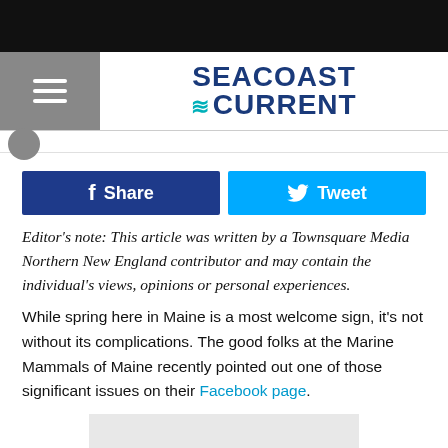Seacoast Current
Share   Tweet
Editor's note: This article was written by a Townsquare Media Northern New England contributor and may contain the individual's views, opinions or personal experiences.
While spring here in Maine is a most welcome sign, it's not without its complications. The good folks at the Marine Mammals of Maine recently pointed out one of those significant issues on their Facebook page.